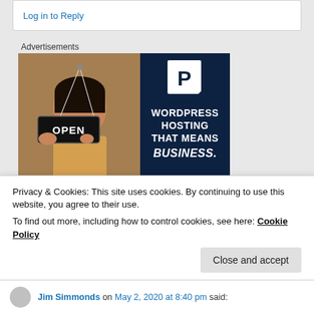Log in to Reply
Advertisements
[Figure (photo): Advertisement banner for WordPress Hosting. Left half shows a smiling woman holding an OPEN sign in a shop window. Right half has a dark navy blue background with a white 'P' logo and text reading: WORDPRESS HOSTING THAT MEANS BUSINESS.]
Privacy & Cookies: This site uses cookies. By continuing to use this website, you agree to their use.
To find out more, including how to control cookies, see here: Cookie Policy
Close and accept
Jim Simmonds on May 2, 2020 at 8:40 pm said: